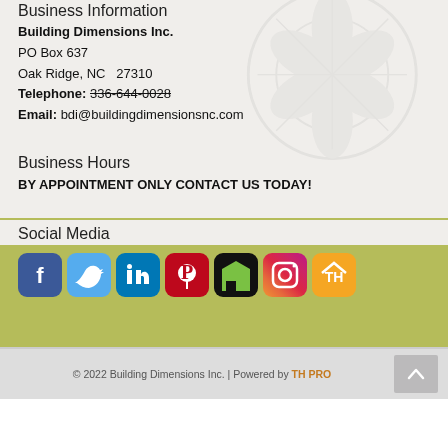Business Information
Building Dimensions Inc.
PO Box 637
Oak Ridge, NC  27310
Telephone: 336-644-0028
Email: bdi@buildingdimensionsnc.com
Business Hours
BY APPOINTMENT ONLY CONTACT US TODAY!
Social Media
[Figure (infographic): Row of 7 social media icons: Facebook (blue), Twitter (light blue), LinkedIn (blue), Pinterest (red), Houzz (dark), Instagram (orange/brown gradient), TH (orange)]
© 2022 Building Dimensions Inc. | Powered by TH PRO